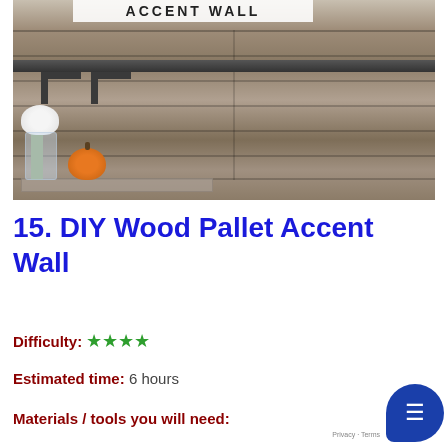[Figure (photo): Photo of a DIY wood pallet accent wall with a rustic wooden shelf holding white hydrangea flowers in a glass vase and an orange pumpkin on a tray. The wall features horizontal weathered wood planks in grey-brown tones. Text 'ACCENT WALL' visible at top of image.]
15. DIY Wood Pallet Accent Wall
Difficulty: ★★★★
Estimated time: 6 hours
Materials / tools you will need: